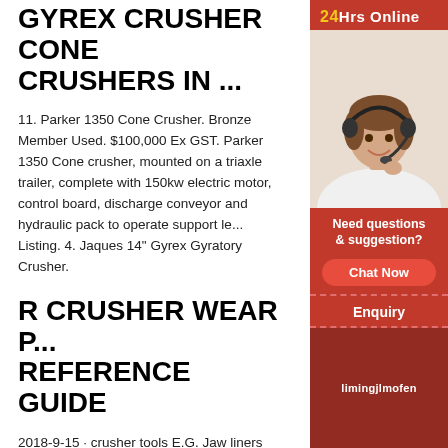GYREX CRUSHER CONE CRUSHERS IN ...
11. Parker 1350 Cone Crusher. Bronze Member Used. $100,000 Ex GST. Parker 1350 Cone crusher, mounted on a triaxle trailer, complete with 150kw electric motor, control board, discharge conveyor and hydraulic pack to operate support le... Listing. 4. Jaques 14" Gyrex Gyratory Crusher.
R CRUSHER WEAR P... REFERENCE GUIDE
2018-9-15 · crusher tools E.G. Jaw liners are sub... pressure and impact stresses. Several other facto... lifetime of crusher wear parts as listed in below Di... occurs in all crushers , however wear costs can b... selecting the correct crusher type for the abrasive... material to be crushed.
[Figure (photo): Customer service agent (woman with headset) in a red sidebar panel. The sidebar includes '24Hrs Online' label in red background with yellow text, 'Need questions & suggestion?' text, a 'Chat Now' button, an 'Enquiry' link, and 'limingjlmofen' at the bottom.]